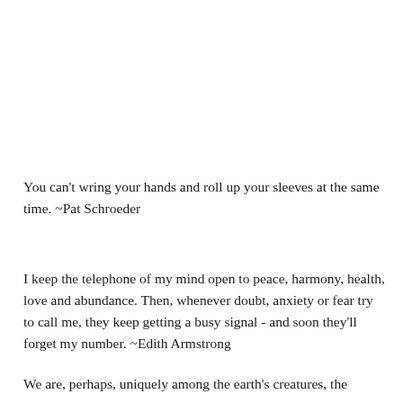You can't wring your hands and roll up your sleeves at the same time. ~Pat Schroeder
I keep the telephone of my mind open to peace, harmony, health, love and abundance. Then, whenever doubt, anxiety or fear try to call me, they keep getting a busy signal - and soon they'll forget my number. ~Edith Armstrong
We are, perhaps, uniquely among the earth's creatures, the